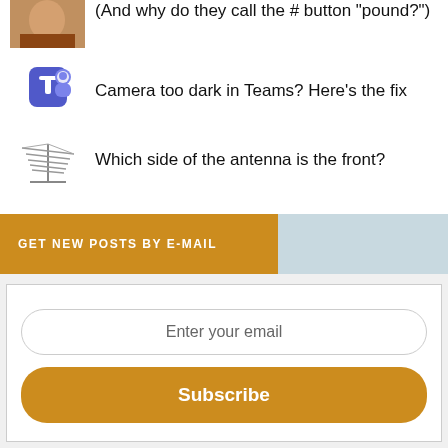(And why do they call the # button “pound?”)
Camera too dark in Teams? Here’s the fix
Which side of the antenna is the front?
GET NEW POSTS BY E-MAIL
Enter your email
Subscribe
LATEST COMMENTS